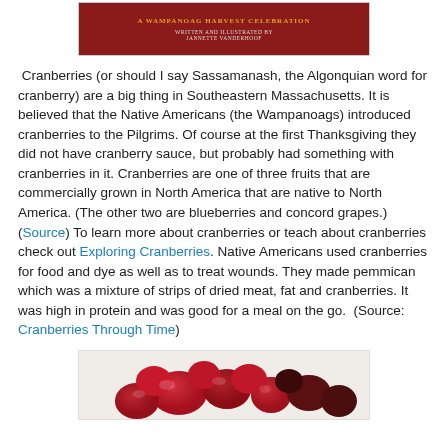[Figure (illustration): Book cover with dark red/maroon background, gold title text at top (A WAMPANOAG HARVEST CELEBRATION), and author credit line (WRITTEN AND ILLUSTRATED BY JANNETTE VANDERHOOF) in lighter text below.]
Cranberries (or should I say Sassamanash, the Algonquian word for cranberry) are a big thing in Southeastern Massachusetts. It is believed that the Native Americans (the Wampanoags) introduced cranberries to the Pilgrims. Of course at the first Thanksgiving they did not have cranberry sauce, but probably had something with cranberries in it. Cranberries are one of three fruits that are commercially grown in North America that are native to North America. (The other two are blueberries and concord grapes.) (Source) To learn more about cranberries or teach about cranberries check out Exploring Cranberries. Native Americans used cranberries for food and dye as well as to treat wounds. They made pemmican which was a mixture of strips of dried meat, fat and cranberries. It was high in protein and was good for a meal on the go.  (Source: Cranberries Through Time)
[Figure (photo): Photograph of fresh cranberries, showing red and dark red/maroon cranberries piled together.]